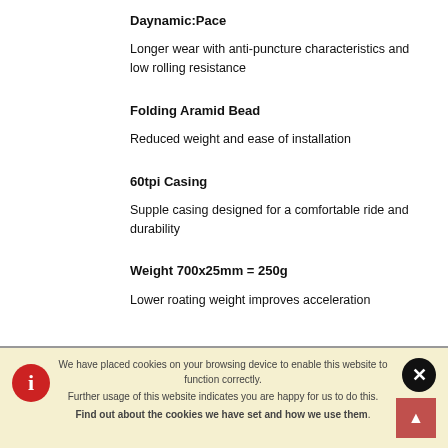Daynamic:Pace
Longer wear with anti-puncture characteristics and low rolling resistance
Folding Aramid Bead
Reduced weight and ease of installation
60tpi Casing
Supple casing designed for a comfortable ride and durability
Weight 700x25mm = 250g
Lower roating weight improves acceleration
We have placed cookies on your browsing device to enable this website to function correctly. Further usage of this website indicates you are happy for us to do this. Find out about the cookies we have set and how we use them.